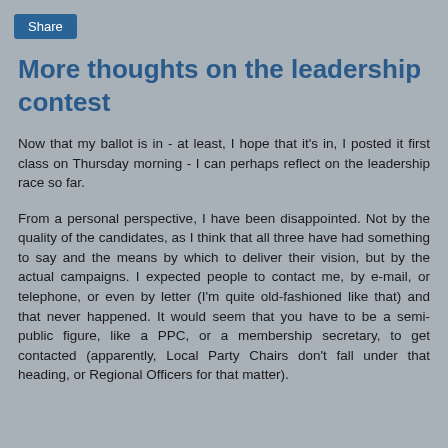Share
More thoughts on the leadership contest
Now that my ballot is in - at least, I hope that it's in, I posted it first class on Thursday morning - I can perhaps reflect on the leadership race so far.
From a personal perspective, I have been disappointed. Not by the quality of the candidates, as I think that all three have had something to say and the means by which to deliver their vision, but by the actual campaigns. I expected people to contact me, by e-mail, or telephone, or even by letter (I'm quite old-fashioned like that) and that never happened. It would seem that you have to be a semi-public figure, like a PPC, or a membership secretary, to get contacted (apparently, Local Party Chairs don't fall under that heading, or Regional Officers for that matter).